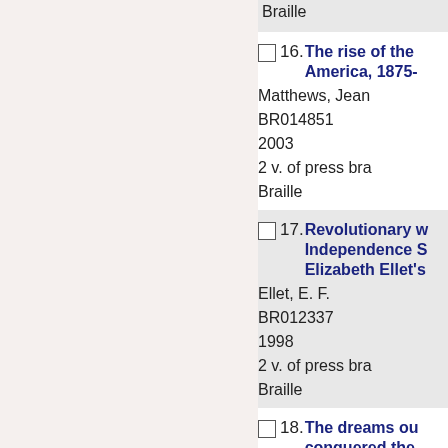Braille
16. The rise of the America, 1875-
Matthews, Jean
BR014851
2003
2 v. of press bra
Braille
17. Revolutionary w Independence S Elizabeth Ellet's
Ellet, E. F.
BR012337
1998
2 v. of press bra
Braille
18. The dreams ou conquered the
Disch, Thomas M
BR012179